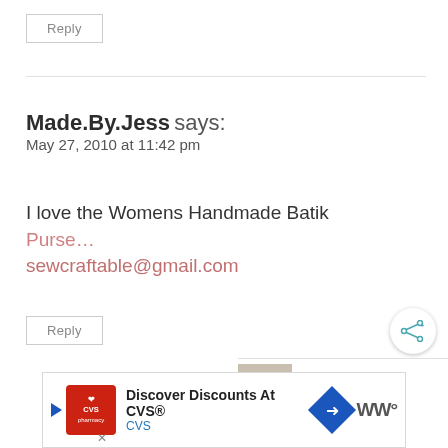Reply
Made.By.Jess says:
May 27, 2010 at 11:42 pm
I love the Womens Handmade Batik Purse… sewcraftable@gmail.com
Reply
[Figure (infographic): Share button (circular with share icon) and WHAT'S NEXT panel showing FREE SVG Cut Files for Cri...]
[Figure (infographic): CVS advertisement banner: Discover Discounts At CVS® with CVS logo, blue diamond arrow icon, and WW logo]